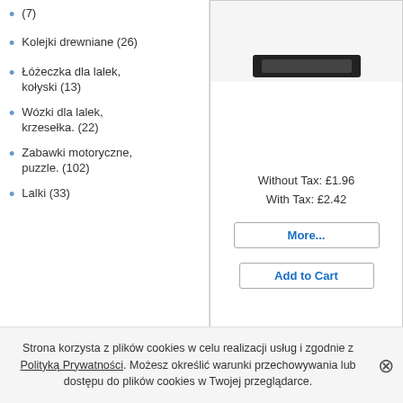(7)
Kolejki drewniane (26)
Łóżeczka dla lalek, kołyski (13)
Wózki dla lalek, krzesełka. (22)
Zabawki motoryczne, puzzle. (102)
Lalki (33)
Quick Find
Use keywords to find the product you are looking for
Quick Find
Advanced Search
Without Tax: £1.96
With Tax: £2.42
More...
Add to Cart
[Figure (photo): Colorful flower bead necklace and bracelet set]
[Figure (photo): Pink product packaging partially visible]
Strona korzysta z plików cookies w celu realizacji usług i zgodnie z Polityką Prywatności. Możesz określić warunki przechowywania lub dostępu do plików cookies w Twojej przeglądarce.